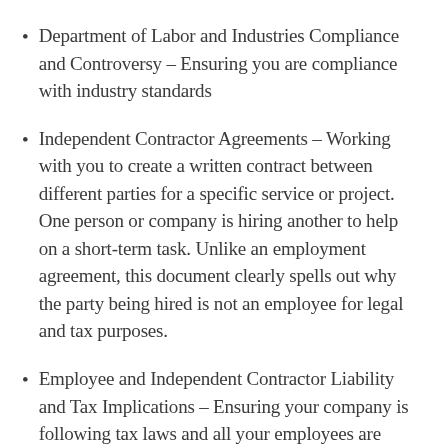Department of Labor and Industries Compliance and Controversy – Ensuring you are compliance with industry standards
Independent Contractor Agreements – Working with you to create a written contract between different parties for a specific service or project. One person or company is hiring another to help on a short-term task. Unlike an employment agreement, this document clearly spells out why the party being hired is not an employee for legal and tax purposes.
Employee and Independent Contractor Liability and Tax Implications – Ensuring your company is following tax laws and all your employees are classified correctly.